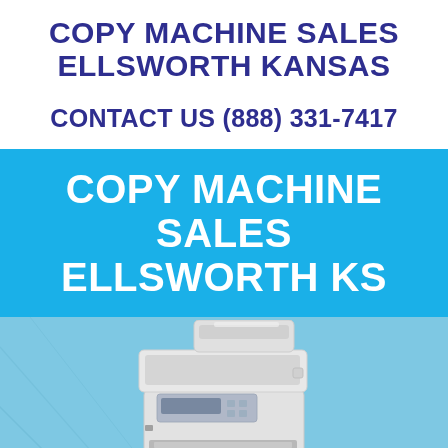COPY MACHINE SALES ELLSWORTH KANSAS
CONTACT US (888) 331-7417
COPY MACHINE SALES ELLSWORTH KS
[Figure (photo): A Brother multifunction laser printer/copier on a light blue background with diagonal line accents]